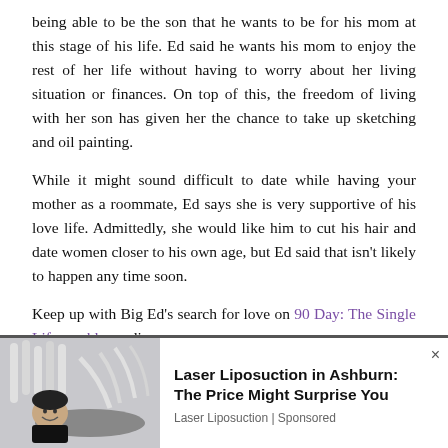being able to be the son that he wants to be for his mom at this stage of his life. Ed said he wants his mom to enjoy the rest of her life without having to worry about her living situation or finances. On top of this, the freedom of living with her son has given her the chance to take up sketching and oil painting.
While it might sound difficult to date while having your mother as a roommate, Ed says she is very supportive of his love life. Admittedly, she would like him to cut his hair and date women closer to his own age, but Ed said that isn't likely to happen any time soon.
Keep up with Big Ed's search for love on 90 Day: The Single Life weekly on discovery+.
[Figure (photo): Advertisement banner showing a person receiving laser liposuction treatment, with ad text 'Laser Liposuction in Ashburn: The Price Might Surprise You' from Laser Liposuction | Sponsored]